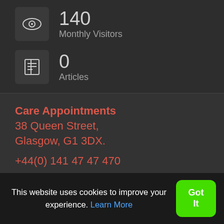140
Monthly Visitors
0
Articles
Care Appointments
38 Queen Street,
Glasgow, G1 3DX.
+44(0) 141 47 47 470
[Figure (logo): Small leaf/recycling icon]
This website uses cookies to improve your experience. Learn More
Got It